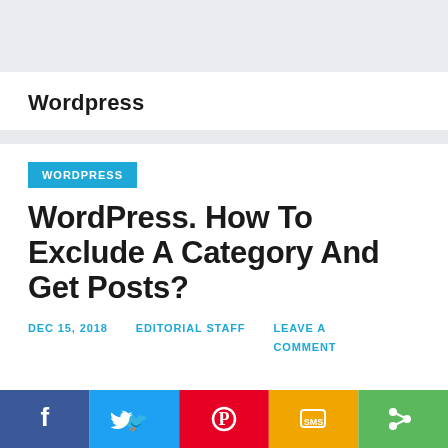Wordpress
WORDPRESS
WordPress. How To Exclude A Category And Get Posts?
DEC 15, 2018    EDITORIAL STAFF    LEAVE A COMMENT